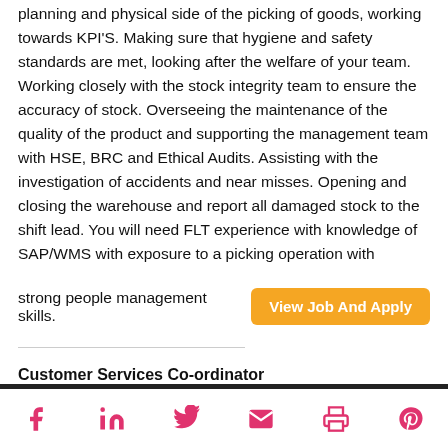planning and physical side of the picking of goods, working towards KPI'S. Making sure that hygiene and safety standards are met, looking after the welfare of your team. Working closely with the stock integrity team to ensure the accuracy of stock. Overseeing the maintenance of the quality of the product and supporting the management team with HSE, BRC and Ethical Audits. Assisting with the investigation of accidents and near misses. Opening and closing the warehouse and report all damaged stock to the shift lead. You will need FLT experience with knowledge of SAP/WMS with exposure to a picking operation with strong people management skills.
View Job And Apply
Customer Services Co-ordinator
Telecoms
Social media icons: Facebook, LinkedIn, Twitter, Email, Print, Pinterest